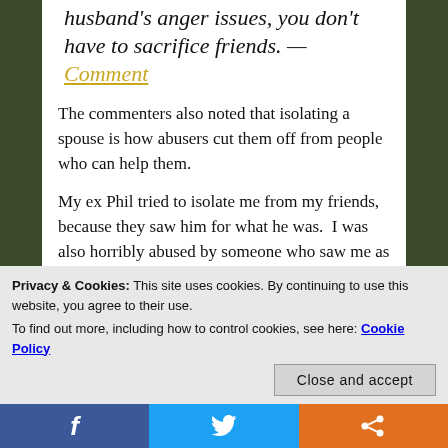husband's anger issues, you don't have to sacrifice friends. —Comment
The commenters also noted that isolating a spouse is how abusers cut them off from people who can help them.
My ex Phil tried to isolate me from my friends, because they saw him for what he was.  I was also horribly abused by someone who saw me as a threat and tried to cut me off from friendship with her husband.  She's also
Privacy & Cookies: This site uses cookies. By continuing to use this website, you agree to their use.
To find out more, including how to control cookies, see here: Cookie Policy
Close and accept